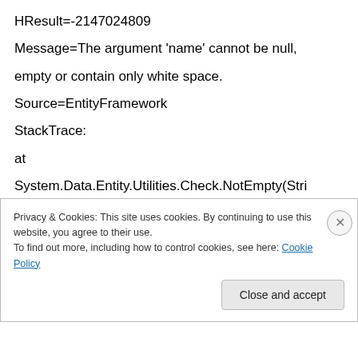HResult=-2147024809
Message=The argument 'name' cannot be null, empty or contain only white space.
Source=EntityFramework
StackTrace:
at
System.Data.Entity.Utilities.Check.NotEmpty(String value, String parameterName)
at
System.Data.Entity.Core.Metadata.Edm.EdmProperty.Create(String name, TypeUsage
Privacy & Cookies: This site uses cookies. By continuing to use this website, you agree to their use.
To find out more, including how to control cookies, see here: Cookie Policy